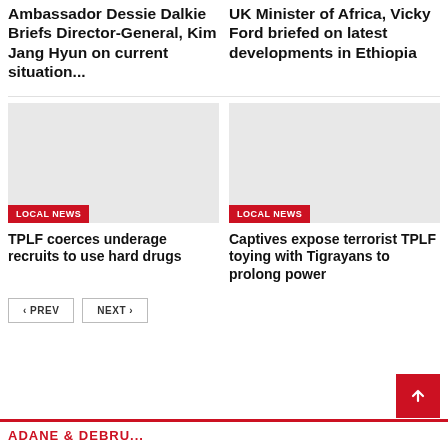Ambassador Dessie Dalkie Briefs Director-General, Kim Jang Hyun on current situation...
UK Minister of Africa, Vicky Ford briefed on latest developments in Ethiopia
[Figure (photo): Placeholder image for TPLF coerces underage recruits to use hard drugs article]
LOCAL NEWS
TPLF coerces underage recruits to use hard drugs
[Figure (photo): Placeholder image for Captives expose terrorist TPLF toying with Tigrayans to prolong power article]
LOCAL NEWS
Captives expose terrorist TPLF toying with Tigrayans to prolong power
PREV   NEXT